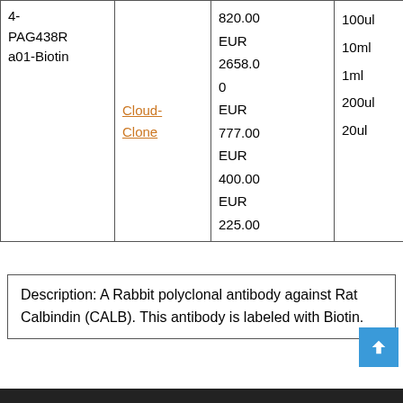| Product | Supplier | Price | Size |
| --- | --- | --- | --- |
| 4-PAG438Ra01-Biotin | Cloud-Clone | 820.00 EUR
2658.00 EUR
777.00 EUR
400.00 EUR
225.00 EUR | 100ul
10ml
1ml
200ul
20ul |
Description: A Rabbit polyclonal antibody against Rat Calbindin (CALB). This antibody is labeled with Biotin.